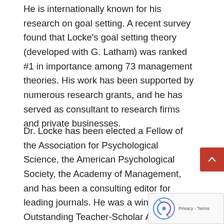He is internationally known for his research on goal setting. A recent survey found that Locke's goal setting theory (developed with G. Latham) was ranked #1 in importance among 73 management theories. His work has been supported by numerous research grants, and he has served as consultant to research firms and private businesses.
Dr. Locke has been elected a Fellow of the Association for Psychological Science, the American Psychological Society, the Academy of Management, and has been a consulting editor for leading journals. He was a winner of the Outstanding Teacher-Scholar Award at the University of Maryland, the Distinguished Scientific Contribution Award of the Society for Industrial